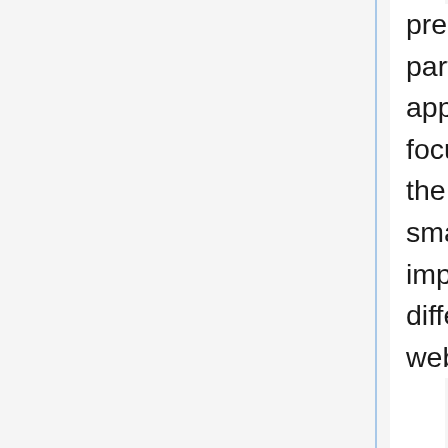preserve the user's privacy by preventing third-parties from having the ability to track which web applications a user is interacting with. SIOP focuses on the integration of Identity Wallets in the form of browser extensions/ plugins, or smartphone apps, it does not prevent implementers using the proposed flow in different scenarios as well, e.g., between two web services.
The main use case is to sign up with/ login (aka register) to an RP, i.e., website. It assumes the user operates a mobile or desktop browser or a browser-based app that can respond to SIOP requests.
The SIOP picker will eithe generate or pass trough the <SIOP Response> based on the specific DID method that the user chooses. If required it can